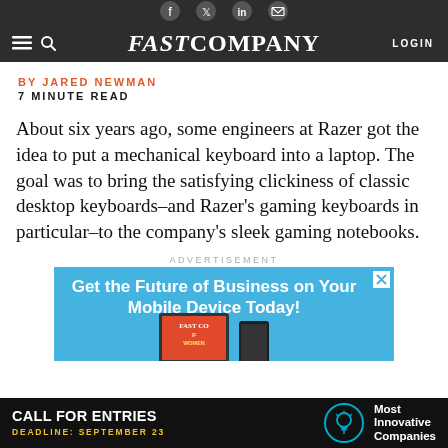FAST COMPANY
BY JARED NEWMAN
7 MINUTE READ
About six years ago, some engineers at Razer got the idea to put a mechanical keyboard into a laptop. The goal was to bring the satisfying clickiness of classic desktop keyboards–and Razer's gaming keyboards in particular–to the company's sleek gaming notebooks.
ADVERTISEMENT
[Figure (infographic): Advertisement banner: 'Get the Future of Business on Your Mobile Device Today!' with tablet showing Fast Company magazine cover, on blue background.]
[Figure (infographic): Bottom banner: 'CALL FOR ENTRIES – DEADLINE: SEPTEMBER 23' with lightbulb icon and 'Most Innovative Companies' text on black background.]